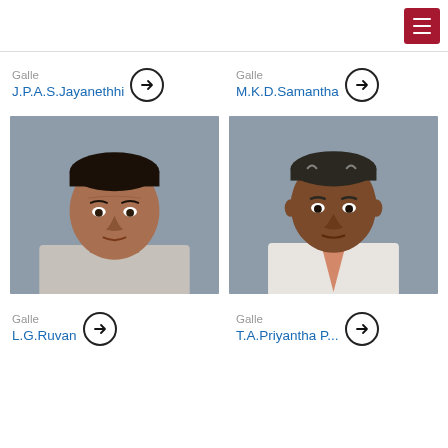Galle
J.P.A.S.Jayanethhi
Galle
M.K.D.Samantha
[Figure (photo): Portrait photo of J.P.A.S.Jayanethhi — male, dark short hair, wearing light grey shirt, grey background]
[Figure (photo): Portrait photo of M.K.D.Samantha — male, grey-streaked short hair, wearing white striped shirt with orange/pink tie, grey background]
Galle
L.G.Ruvan
Galle
T.A.Priyantha P...